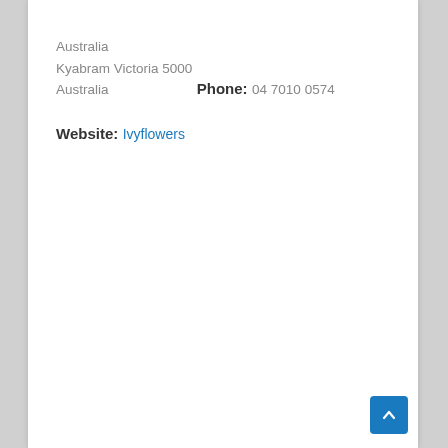Australia
Kyabram Victoria 5000
Australia
Phone:
04 7010 0574
Website:
Ivyflowers